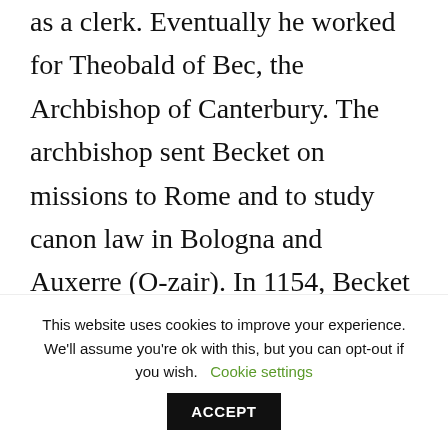as a clerk. Eventually he worked for Theobald of Bec, the Archbishop of Canterbury. The archbishop sent Becket on missions to Rome and to study canon law in Bologna and Auxerre (O-zair). In 1154, Becket was named Archdeacon of Canterbury along with other posts. He was appointed Lord Chancellor in 1155.
...after the death of Theobald of Bec, Becket...
This website uses cookies to improve your experience. We'll assume you're ok with this, but you can opt-out if you wish. Cookie settings  ACCEPT